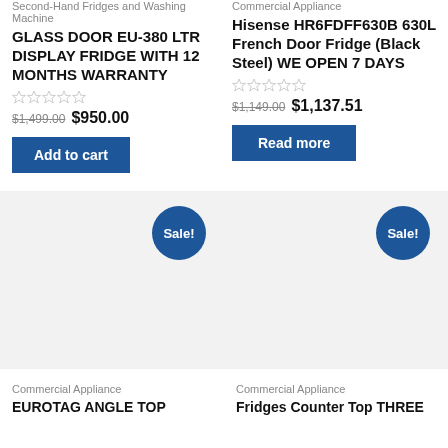Second-Hand Fridges and Washing Machine
GLASS DOOR EU-380 LTR DISPLAY FRIDGE WITH 12 MONTHS WARRANTY
Rating: 0 out of 5
$1,499.00 $950.00
Add to cart
Commercial Appliance
Hisense HR6FDFF630B 630L French Door Fridge (Black Steel) WE OPEN 7 DAYS
Rating: 0 out of 5
$1,149.00 $1,137.51
Read more
Sale!
Sale!
Commercial Appliance
EUROTAG ANGLE TOP
Commercial Appliance
Fridges Counter Top THREE